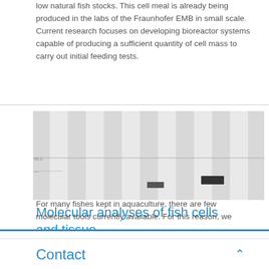low natural fish stocks. This cell meal is already being produced in the labs of the Fraunhofer EMB in small scale. Current research focuses on developing bioreactor systems capable of producing a sufficient quantity of cell mass to carry out initial feeding tests.
[Figure (other): Western blot or gel electrophoresis image showing faint bands across multiple lanes on a light grey background, with two distinct dark bands visible in later lanes.]
Molecular analyses of fish cells and tissue
For many fishes kept in aquaculture, there are few molecular tools currently available. For this reason, we
Contact